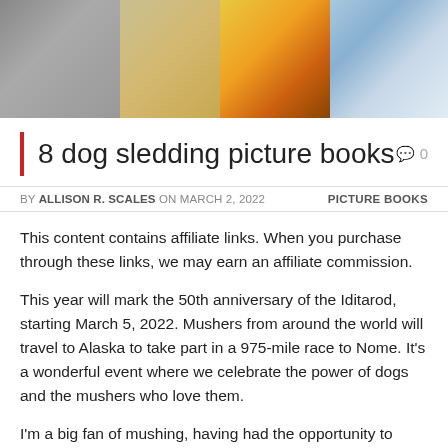[Figure (photo): Banner image showing a collage of dog sledding book covers: multiple colorful panels featuring sled dogs, winter landscapes, and Iditarod imagery.]
8 dog sledding picture books
BY ALLISON R. SCALES ON MARCH 2, 2022    PICTURE BOOKS
This content contains affiliate links. When you purchase through these links, we may earn an affiliate commission.
This year will mark the 50th anniversary of the Iditarod, starting March 5, 2022. Mushers from around the world will travel to Alaska to take part in a 975-mile race to Nome. It's a wonderful event where we celebrate the power of dogs and the mushers who love them.
I'm a big fan of mushing, having had the opportunity to learn how to dog sled in 2017. Since then I've been able to go to Alaska and the